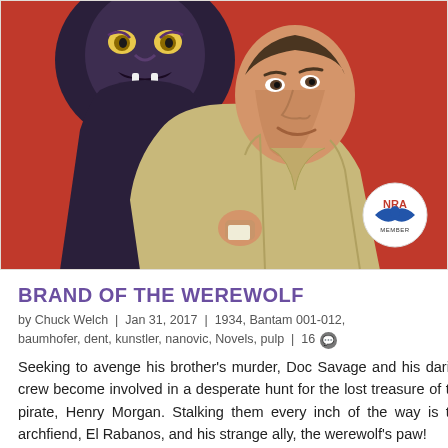[Figure (illustration): Pulp magazine cover illustration showing a square-jawed hero man in a yellow-green shirt looking down, with a large dark demonic mask figure looming behind him on a red background. An NRA eagle medallion badge is in the lower right corner.]
BRAND OF THE WEREWOLF
by Chuck Welch | Jan 31, 2017 | 1934, Bantam 001-012, baumhofer, dent, kunstler, nanovic, Novels, pulp | 16
Seeking to avenge his brother's murder, Doc Savage and his daring crew become involved in a desperate hunt for the lost treasure of the pirate, Henry Morgan. Stalking them every inch of the way is the archfiend, El Rabanos, and his strange ally, the werewolf's paw!